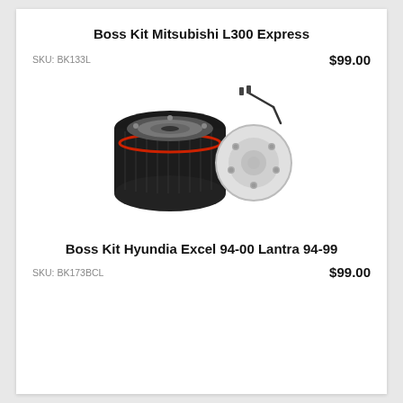Boss Kit Mitsubishi L300 Express
SKU: BK133L
$99.00
[Figure (photo): A black steering wheel boss kit hub adapter with separate mounting plate and allen key/screws, shown on white background.]
Boss Kit Hyundia Excel 94-00 Lantra 94-99
SKU: BK173BCL
$99.00